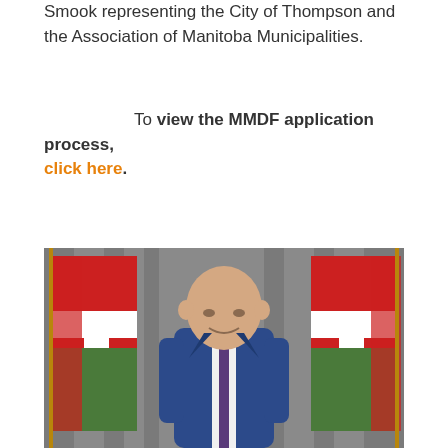Smook representing the City of Thompson and the Association of Manitoba Municipalities.
To view the MMDF application process, click here.
[Figure (photo): A person in a blue suit speaking at a podium with Manitoba provincial flags on either side, in front of grey curtains.]